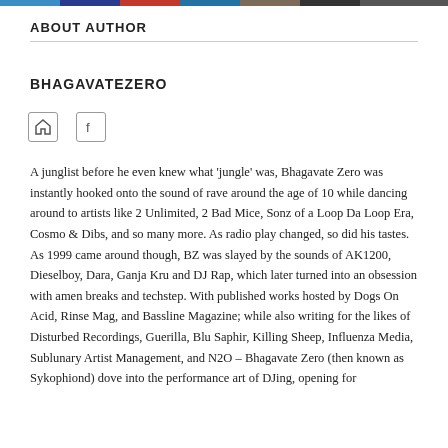colored bar strip at top
ABOUT AUTHOR
BHAGAVATEZERO
[Figure (other): Home icon and Facebook icon in small bordered boxes]
A junglist before he even knew what 'jungle' was, Bhagavate Zero was instantly hooked onto the sound of rave around the age of 10 while dancing around to artists like 2 Unlimited, 2 Bad Mice, Sonz of a Loop Da Loop Era, Cosmo & Dibs, and so many more. As radio play changed, so did his tastes. As 1999 came around though, BZ was slayed by the sounds of AK1200, Dieselboy, Dara, Ganja Kru and DJ Rap, which later turned into an obsession with amen breaks and techstep. With published works hosted by Dogs On Acid, Rinse Mag, and Bassline Magazine; while also writing for the likes of Disturbed Recordings, Guerilla, Blu Saphir, Killing Sheep, Influenza Media, Sublunary Artist Management, and N2O – Bhagavate Zero (then known as Sykophiond) dove into the performance art of DJing, opening for